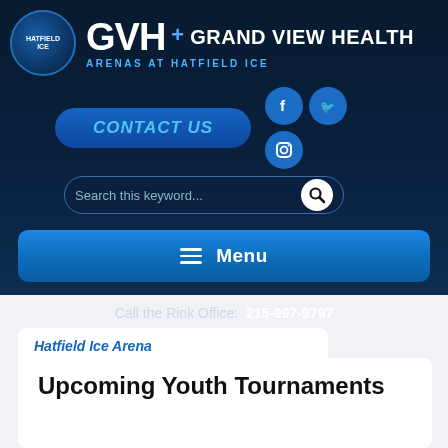[Figure (logo): Hatfield Ice circular logo with hockey player and globe]
GVH+ GRAND VIEW HEALTH ARENAS AT HATFIELD ICE
CONTACT US
[Figure (logo): Facebook icon circle]
[Figure (logo): Twitter icon circle]
[Figure (logo): Instagram icon circle]
Search this keyword...
Menu
Call the Rink Office:  215-997-9797
Hatfield Ice Arena
Upcoming Youth Tournaments